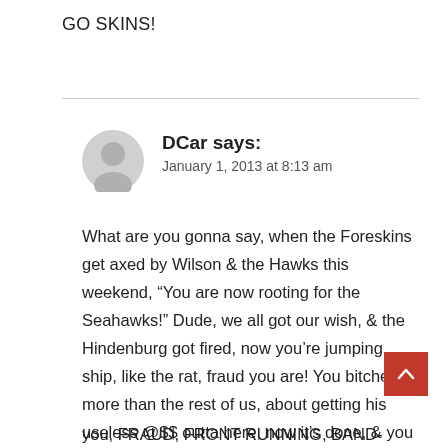GO SKINS!
DCar says:
January 1, 2013 at 8:13 am
What are you gonna say, when the Foreskins get axed by Wilson & the Hawks this weekend, “You are now rooting for the Seahawks!” Dude, we all got our wish, & the Hindenburg got fired, now you’re jumping ship, like the rat, fraud you are! You bitched more than the rest of us, about getting his useless @$$ outta here, now it’s done, & you are a Skins fan! You are a pathetic, fraudulent, front running, band-wagoner! Just a question Songs, if Cousins was their starting QB, & not RGIII, would you still be rooting for them?!? No, I believe you would be rooting for Wilson, instead! I see right through you, FRAUD, FRONT RUNNING, BAND-